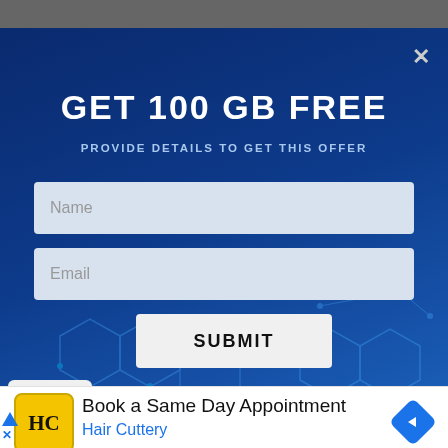[Figure (screenshot): Dark blue tech-themed popup modal with hexagonal network pattern background. Contains a promotional offer for 100 GB free cloud storage with a form for name and email, and a submit button. A close (x) button is in the top right corner.]
GET 100 GB FREE
PROVIDE DETAILS TO GET THIS OFFER
[Figure (infographic): White advertisement banner at bottom. HC logo in yellow square with black border. Text: Book a Same Day Appointment / Hair Cuttery. Blue navigation arrow icon on right. Small blue triangle and X on far left.]